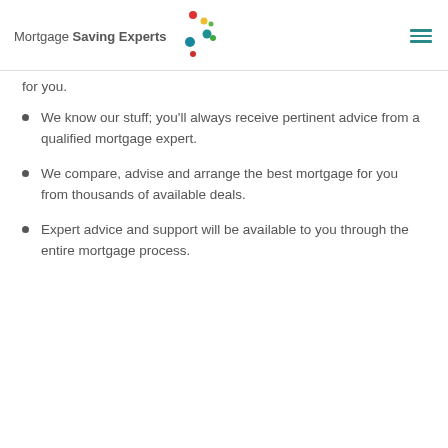Mortgage Saving Experts
for you.
We know our stuff; you'll always receive pertinent advice from a qualified mortgage expert.
We compare, advise and arrange the best mortgage for you from thousands of available deals.
Expert advice and support will be available to you through the entire mortgage process.